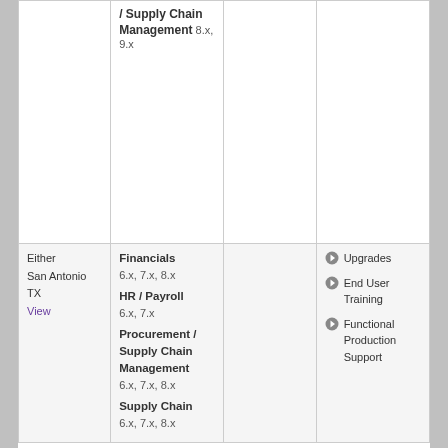| Location | Modules | Empty | Services |
| --- | --- | --- | --- |
|  | / Supply Chain Management
8.x, 9.x |  |  |
| Either
San Antonio TX
View | Financials 6.x, 7.x, 8.x
HR / Payroll 6.x, 7.x
Procurement / Supply Chain Management 6.x, 7.x, 8.x
Supply Chain 6.x, 7.x, 8.x |  | Upgrades
End User Training
Functional Production Support |